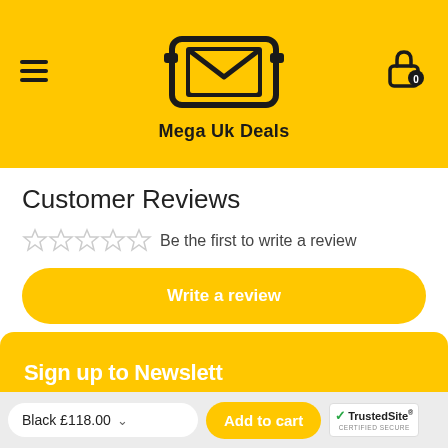[Figure (logo): Mega Uk Deals logo with a smartphone/envelope icon on a yellow background, with hamburger menu on left and cart icon on right]
Customer Reviews
Be the first to write a review
Write a review
Sign up to Newsletter (partially visible)
Black £118.00   Add to cart   TrustedSite CERTIFIED SECURE